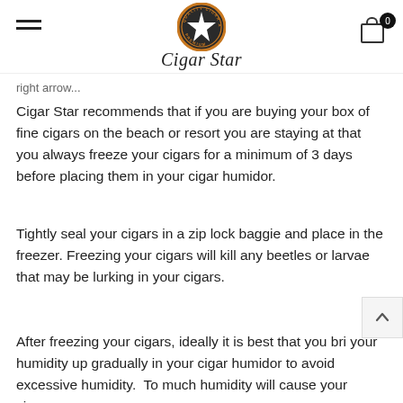Cigar Star — navigation header with logo
right arrow...
Cigar Star recommends that if you are buying your box of fine cigars on the beach or resort you are staying at that you always freeze your cigars for a minimum of 3 days before placing them in your cigar humidor.
Tightly seal your cigars in a zip lock baggie and place in the freezer. Freezing your cigars will kill any beetles or larvae that may be lurking in your cigars.
After freezing your cigars, ideally it is best that you bri your humidity up gradually in your cigar humidor to avoid excessive humidity.  To much humidity will cause your cigars